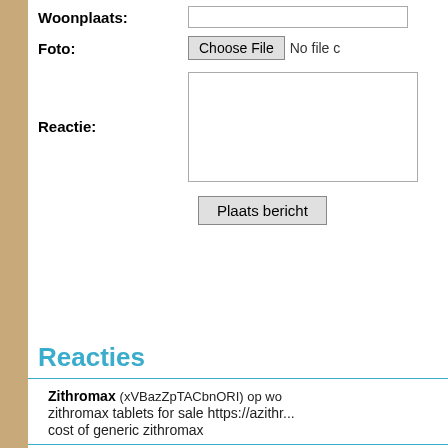Woonplaats:
Foto: Choose File No file chosen
Reactie:
Plaats bericht
Reacties
Zithromax (xVBazZpTACbnORI) op wo... zithromax tablets for sale https://azithr... cost of generic zithromax
MichaelUnoky op woensdag 9 februari 20... Jamshedpur is a large city set betwee... https://community.developer.authorize...
scole op dinsdag 8 februari 2022 Hi, this is Anna. I am sending you my i...
VernonAdope op dinsdag 8 februari 2022 find this https://1xbetsportonline.com/...
GeraldOmicy op dinsdag 8 februari 2022 content https://pinupsbets.com/bk-pin-...